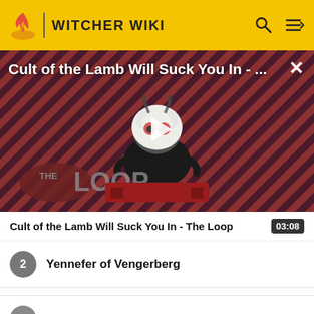WITCHER WIKI
[Figure (screenshot): Video thumbnail for 'Cult of the Lamb Will Suck You In - The Loop' showing a cartoon lamb character on a red and dark striped background with 'THE LOOP' text. A play button is overlaid in the center.]
Cult of the Lamb Will Suck You In - The Loop
03:08
2  Yennefer of Vengerberg
7  The Witcher: Rise Up...